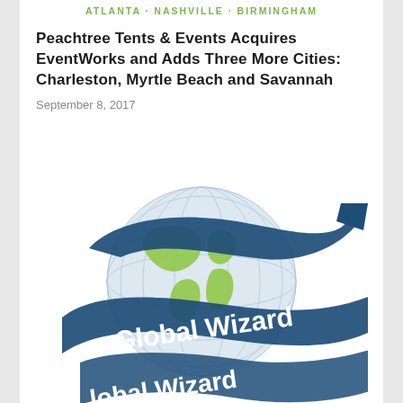ATLANTA · NASHVILLE · BIRMINGHAM
Peachtree Tents & Events Acquires EventWorks and Adds Three More Cities: Charleston, Myrtle Beach and Savannah
September 8, 2017
[Figure (logo): Global Wizard logo: a globe with green continents and a dark blue ribbon/arrow wrapping around it diagonally with the text 'Global Wizard']